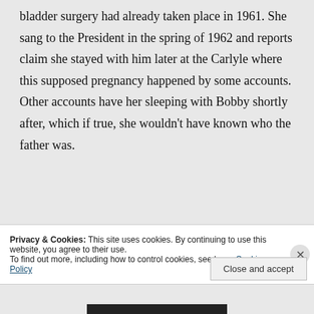bladder surgery had already taken place in 1961. She sang to the President in the spring of 1962 and reports claim she stayed with him later at the Carlyle where this supposed pregnancy happened by some accounts. Other accounts have her sleeping with Bobby shortly after, which if true, she wouldn't have known who the father was.
Privacy & Cookies: This site uses cookies. By continuing to use this website, you agree to their use. To find out more, including how to control cookies, see here: Cookie Policy